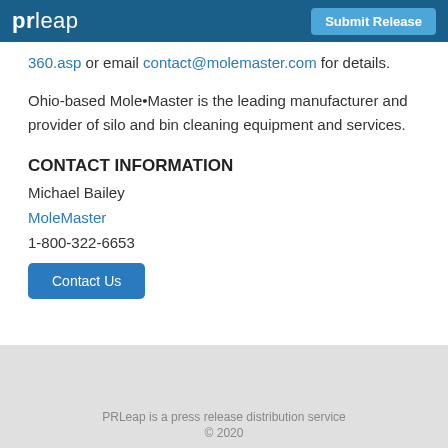prleap | Submit Release
360.asp or email contact@molemaster.com for details.
Ohio-based Mole•Master is the leading manufacturer and provider of silo and bin cleaning equipment and services.
CONTACT INFORMATION
Michael Bailey
MoleMaster
1-800-322-6653
Contact Us
PRLeap is a press release distribution service
© 2020